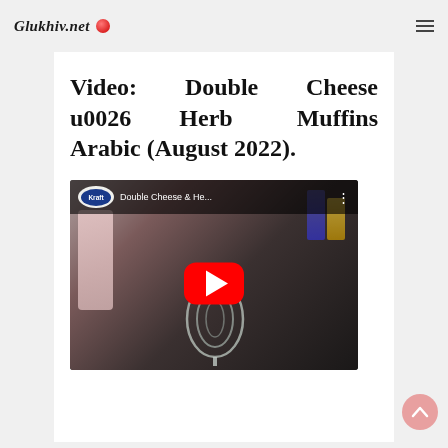Glukhiv.net
Video: Double Cheese u0026 Herb Muffins Arabic (August 2022).
[Figure (screenshot): YouTube video embed showing 'Double Cheese & He...' video thumbnail with Kraft logo badge, kitchen background with whisk, and red YouTube play button.]